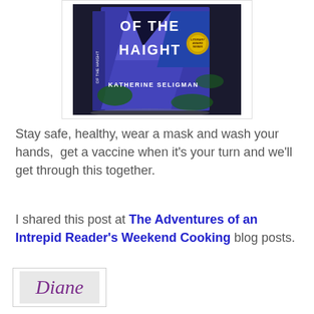[Figure (photo): Book cover of 'Of the Haight' by Katherine Seligman, showing a 3D book with blue/purple geometric design and green foliage, with a Literary Award Winner gold seal]
Stay safe, healthy, wear a mask and wash your hands,  get a vaccine when it's your turn and we'll get through this together.
I shared this post at The Adventures of an Intrepid Reader's Weekend Cooking blog posts.
[Figure (illustration): Signature reading 'Diane' in cursive purple script on a light gray background, inside a white bordered box]